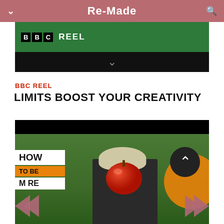Re-Made
[Figure (screenshot): BBC Reel banner with green background showing BBC logo and REEL text, with black bar below containing a chevron down arrow]
BBC REEL
LIMITS BOOST YOUR CREATIVITY
[Figure (screenshot): Video thumbnail showing 'HOW TO BE MORE' text overlay on left with white and orange backgrounds, a person with fluffy hair and an apple for a face in the center, an orange circular design on right, dark circle with up arrow, and pink triangle navigation arrows on left and right sides]